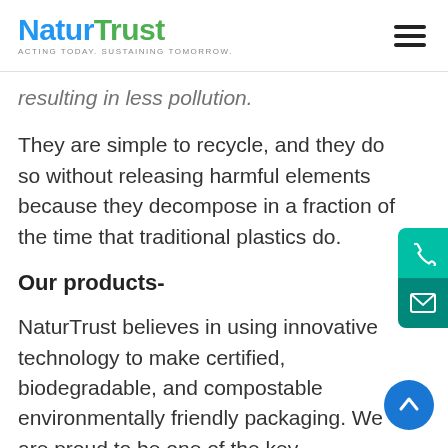NaturTrust — ACTING TODAY. SUSTAINING TOMORROW.
resulting in less pollution.
They are simple to recycle, and they do so without releasing harmful elements because they decompose in a fraction of the time that traditional plastics do.
Our products-
NaturTrust believes in using innovative technology to make certified, biodegradable, and compostable environmentally friendly packaging. We are proud to be one of the key